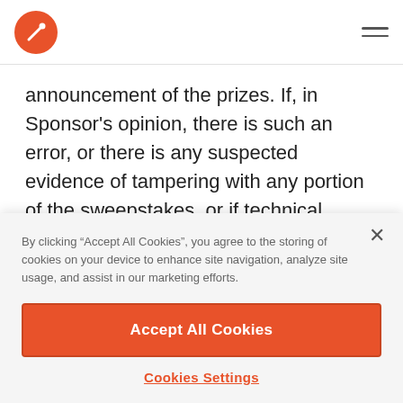announcement of the prizes. If, in Sponsor's opinion, there is such an error, or there is any suspected evidence of tampering with any portion of the sweepstakes, or if technical difficulties (including viruses and bugs) compromise the integrity of the sweepstakes, Sponsor reserves the right to, in its sole discretion, cancel or modify this sweepstakes in a manner it deems appropriate. In the event
By clicking “Accept All Cookies”, you agree to the storing of cookies on your device to enhance site navigation, analyze site usage, and assist in our marketing efforts.
Accept All Cookies
Cookies Settings